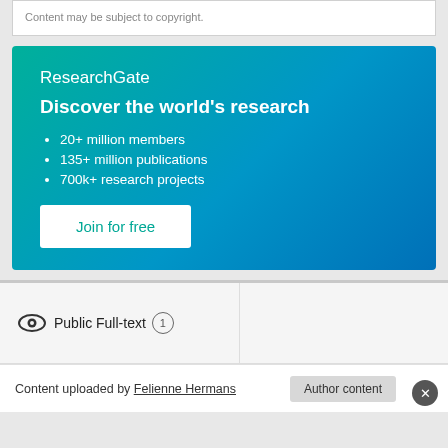Content may be subject to copyright.
[Figure (other): ResearchGate advertisement banner with gradient background (teal to blue). Contains logo 'ResearchGate', heading 'Discover the world's research', bullet points '20+ million members', '135+ million publications', '700k+ research projects', and a 'Join for free' button.]
Public Full-text 1
Content uploaded by Felienne Hermans
Author content